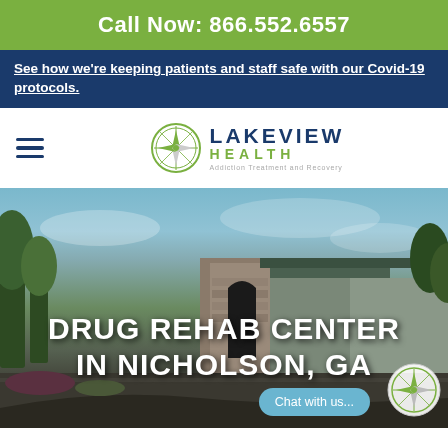Call Now: 866.552.6557
See how we're keeping patients and staff safe with our Covid-19 protocols.
[Figure (logo): Lakeview Health Addiction Treatment and Recovery logo with compass rose icon]
[Figure (photo): Exterior photo of a rehabilitation center building with stone facade, covered entrance, trees, and blue sky. Text overlay reads: DRUG REHAB CENTER IN NICHOLSON, GA. Chat with us button and compass icon visible at bottom right.]
DRUG REHAB CENTER IN NICHOLSON, GA